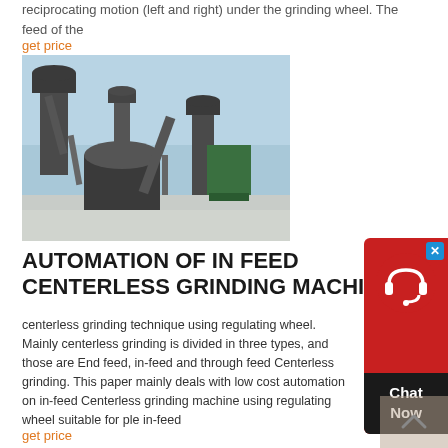reciprocating motion (left and right) under the grinding wheel. The feed of the
get price
[Figure (photo): Industrial grinding/milling machine equipment outdoors in winter, showing large cylindrical mills and dust collectors against a blue sky.]
AUTOMATION OF IN FEED CENTERLESS GRINDING MACHINE
centerless grinding technique using regulating wheel. Mainly centerless grinding is divided in three types, and those are End feed, in-feed and through feed Centerless grinding. This paper mainly deals with low cost automation on in-feed Centerless grinding machine using regulating wheel suitable for ple in-feed
get price